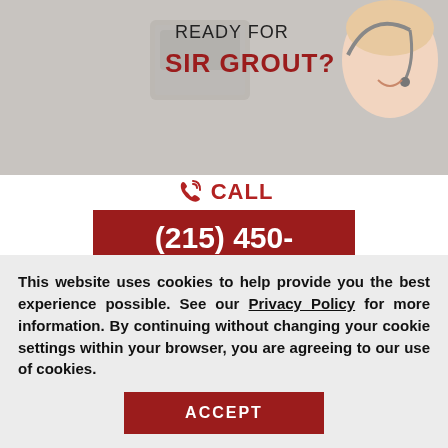[Figure (photo): Banner with text 'READY FOR SIR GROUT?' and person with headset smiling]
CALL (215) 450-5763
OR CLICK HERE TO SCHEDULE A FREE QUOTE
Stone Polishing Glen ... ew
This website uses cookies to help provide you the best experience possible. See our Privacy Policy for more information. By continuing without changing your cookie settings within your browser, you are agreeing to our use of cookies.
ACCEPT